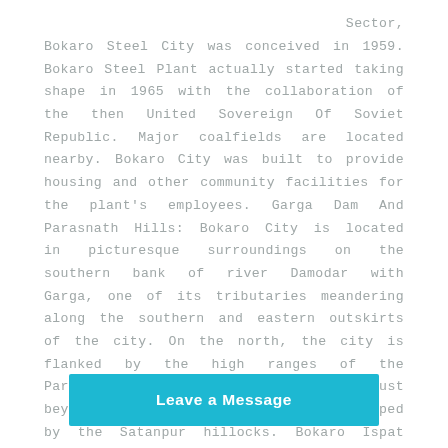Sector, Bokaro Steel City was conceived in 1959. Bokaro Steel Plant actually started taking shape in 1965 with the collaboration of the then United Sovereign Of Soviet Republic. Major coalfields are located nearby. Bokaro City was built to provide housing and other community facilities for the plant's employees. Garga Dam And Parasnath Hills: Bokaro City is located in picturesque surroundings on the southern bank of river Damodar with Garga, one of its tributaries meandering along the southern and eastern outskirts of the city. On the north, the city is flanked by the high ranges of the Parasnath Hills and on the south just beyond the river Garga, it is enveloped by the Satanpur hillocks. Bokaro Ispat Pustakalaya: Located near Bokaro Niwas, it has a collection of over 40,000 books that meets the reading requirements of the people in the township. Ci... maintained City Park with...
[Figure (other): A teal/cyan 'Leave a Message' call-to-action button overlaid at the bottom center of the page]